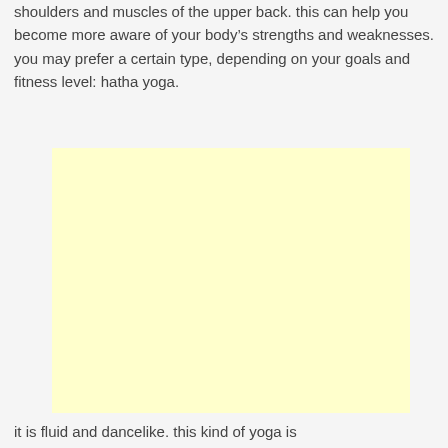shoulders and muscles of the upper back. this can help you become more aware of your body’s strengths and weaknesses. you may prefer a certain type, depending on your goals and fitness level: hatha yoga.
[Figure (other): A plain light yellow rectangular box, likely a placeholder for an image.]
it is fluid and dancelike. this kind of yoga is